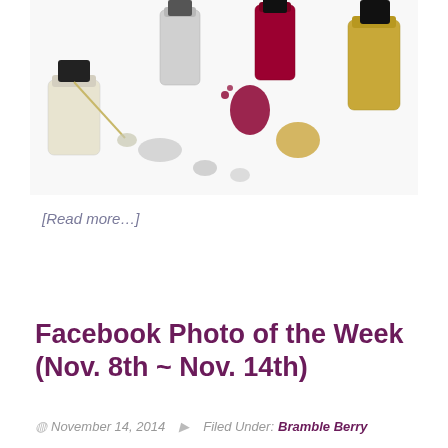[Figure (photo): Nail polish bottles and spilled nail polish on white background. Bottles include white/cream, silver glitter, red, and gold colors with brush applicators and drips.]
[Read more...]
Facebook Photo of the Week (Nov. 8th ~ Nov. 14th)
November 14, 2014  Filed Under: Bramble Berry